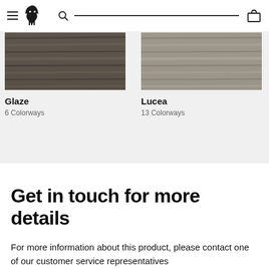[Figure (screenshot): Website header with hamburger menu, wolf logo, search bar, and cart icon]
[Figure (photo): Product image for Glaze - dark wood texture tile]
Glaze
6 Colorways
[Figure (photo): Product image for Lucea - grey wood texture tile]
Lucea
13 Colorways
Get in touch for more details
For more information about this product, please contact one of our customer service representatives